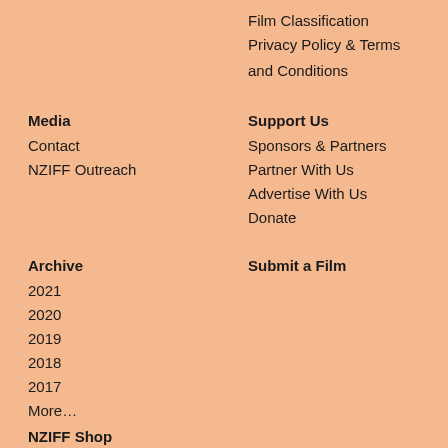Film Classification
Privacy Policy & Terms and Conditions
Media
Contact
NZIFF Outreach
Support Us
Sponsors & Partners
Partner With Us
Advertise With Us
Donate
Archive
2021
2020
2019
2018
2017
More…
Submit a Film
NZIFF Shop